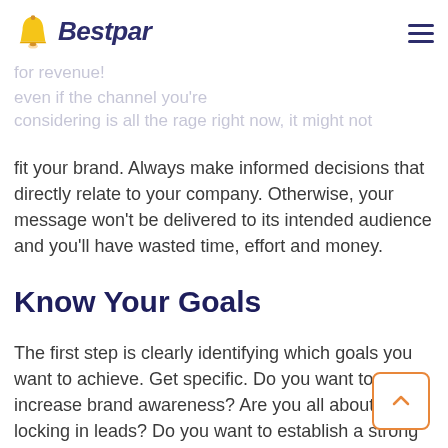Bestpar
fit your brand. Always make informed decisions that directly relate to your company. Otherwise, your message won't be delivered to its intended audience and you'll have wasted time, effort and money.
Know Your Goals
The first step is clearly identifying which goals you want to achieve. Get specific. Do you want to increase brand awareness? Are you all about locking in leads? Do you want to establish a strong network of influencers that can help you